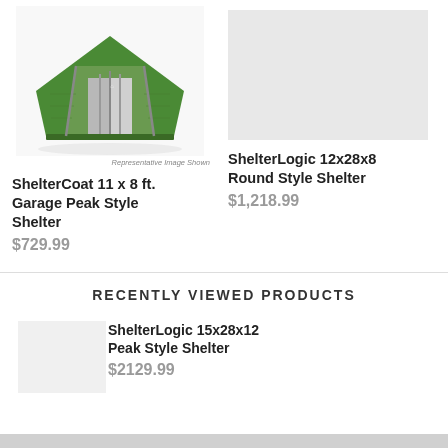[Figure (photo): Green peak style garage shelter tent with metal frame, front opening visible]
Representative Image Shown
ShelterCoat 11 x 8 ft. Garage Peak Style Shelter
$729.99
[Figure (photo): Grey placeholder image for ShelterLogic 12x28x8 Round Style Shelter]
ShelterLogic 12x28x8 Round Style Shelter
$1,218.99
RECENTLY VIEWED PRODUCTS
[Figure (photo): Placeholder image for ShelterLogic 15x28x12 Peak Style Shelter]
ShelterLogic 15x28x12 Peak Style Shelter
$2129.99